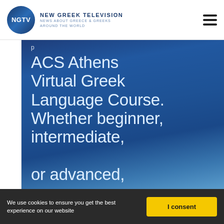NGTV - NEW GREEK TELEVISION - NEWS ABOUT GREECE & GREEKS AROUND THE WORLD
[Figure (screenshot): ACS Athens Virtual Greek Language Course promotional banner on blue gradient background. Text reads: 'ACS Athens Virtual Greek Language Course. Whether beginner, intermediate, or advanced, you will learn from bilingual Greek' (text continues below visible area). White sans-serif text on dark blue gradient background.]
We use cookies to ensure you get the best experience on our website
I consent